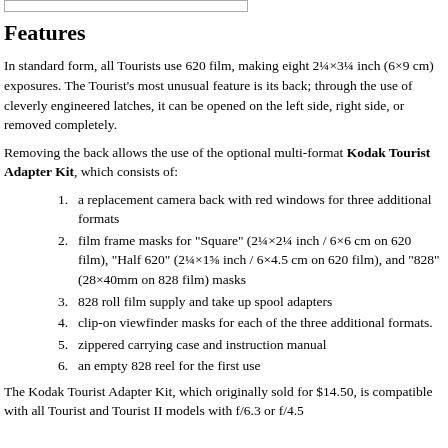Features
In standard form, all Tourists use 620 film, making eight 2¼×3¼ inch (6×9 cm) exposures. The Tourist's most unusual feature is its back; through the use of cleverly engineered latches, it can be opened on the left side, right side, or removed completely.
Removing the back allows the use of the optional multi-format Kodak Tourist Adapter Kit, which consists of:
a replacement camera back with red windows for three additional formats
film frame masks for "Square" (2¼×2¼ inch / 6×6 cm on 620 film), "Half 620" (2¼×1⅝ inch / 6×4.5 cm on 620 film), and "828" (28×40mm on 828 film) masks
828 roll film supply and take up spool adapters
clip-on viewfinder masks for each of the three additional formats.
zippered carrying case and instruction manual
an empty 828 reel for the first use
The Kodak Tourist Adapter Kit, which originally sold for $14.50, is compatible with all Tourist and Tourist II models with f/6.3 or f/4.5...